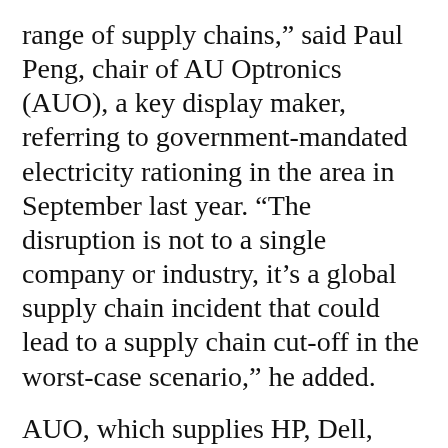range of supply chains,” said Paul Peng, chair of AU Optronics (AUO), a key display maker, referring to government-mandated electricity rationing in the area in September last year. “The disruption is not to a single company or industry, it’s a global supply chain incident that could lead to a supply chain cut-off in the worst-case scenario,” he added.
AUO, which supplies HP, Dell, Asus and Tesla,
We use cookies on our website to give you the most relevant experience by remembering your preferences and repeat visits. By clicking “Accept All”, you consent to the use of ALL the cookies. However, you may visit “Cookie Settings” to provide a controlled consent.